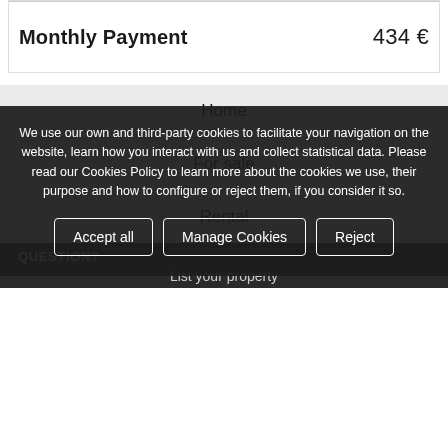Monthly Payment   434 €
Home
For sale
Rental
We use our own and third-party cookies to facilitate your navigation on the website, learn how you interact with us and collect statistical data. Please read our Cookies Policy to learn more about the cookies we use, their purpose and how to configure or reject them, if you consider it so.
Accept all
Manage Cookies
Reject
QUESTION?
List your property